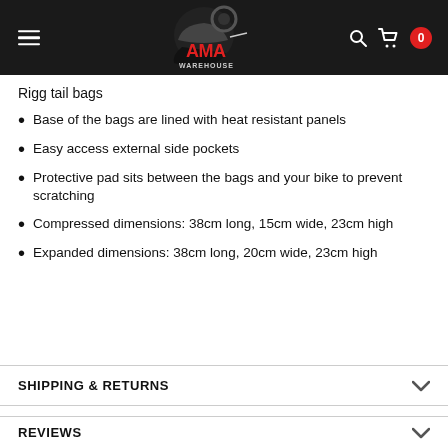AMA Warehouse
Rigg tail bags
Base of the bags are lined with heat resistant panels
Easy access external side pockets
Protective pad sits between the bags and your bike to prevent scratching
Compressed dimensions: 38cm long, 15cm wide, 23cm high
Expanded dimensions: 38cm long, 20cm wide, 23cm high
SHIPPING & RETURNS
REVIEWS